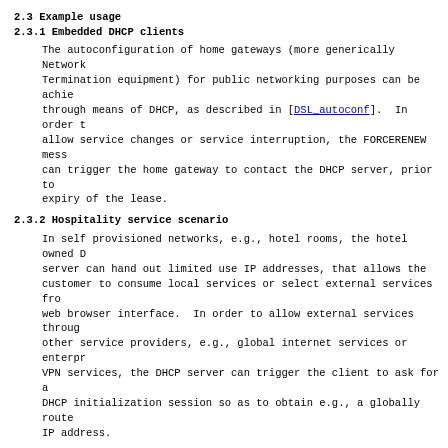2.3 Example usage
2.3.1 Embedded DHCP clients
The autoconfiguration of home gateways (more generically Network Termination equipment) for public networking purposes can be achieved through means of DHCP, as described in [DSL_autoconf].  In order to allow service changes or service interruption, the FORCERENEW message can trigger the home gateway to contact the DHCP server, prior to expiry of the lease.
2.3.2 Hospitality service scenario
In self provisioned networks, e.g., hotel rooms, the hotel owned DHCP server can hand out limited use IP addresses, that allows the customer to consume local services or select external services from a web browser interface.  In order to allow external services through other service providers, e.g., global internet services or enterprise VPN services, the DHCP server can trigger the client to ask for a new DHCP initialization session so as to obtain e.g., a globally routed IP address.
2.3.3 Network renumbering
Under tightly controlled conditions, the FORCERENEW procedures can be used to brute force the renumbering of entire subnets, client per client, under control of a DHCP server.
2.4 Rationale
The approach as described in this document has a number of advantages.  It does not require new states to be added to the DHCP client implementation.  This minimizes the amount of code to be changed.  It also allows lease RENEWAL to be driven by the server, which can be used to optimize network usage or DHCP server load.